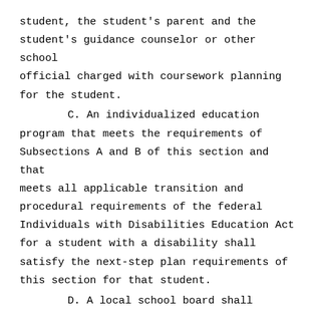student, the student's parent and the student's guidance counselor or other school official charged with coursework planning for the student.

        C. An individualized education program that meets the requirements of Subsections A and B of this section and that meets all applicable transition and procedural requirements of the federal Individuals with Disabilities Education Act for a student with a disability shall satisfy the next-step plan requirements of this section for that student.

        D. A local school board shall